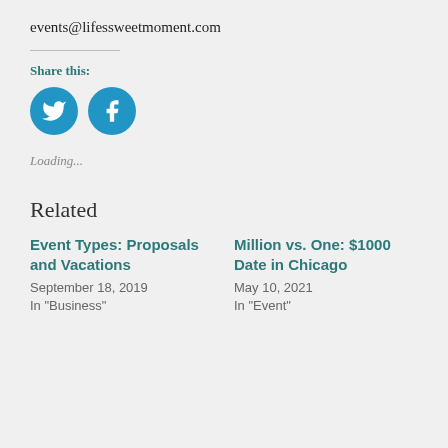events@lifessweetmoment.com
Share this:
[Figure (other): Twitter and Facebook share buttons as blue circles with white icons]
Loading...
Related
Event Types: Proposals and Vacations
September 18, 2019
In "Business"
Million vs. One: $1000 Date in Chicago
May 10, 2021
In "Event"